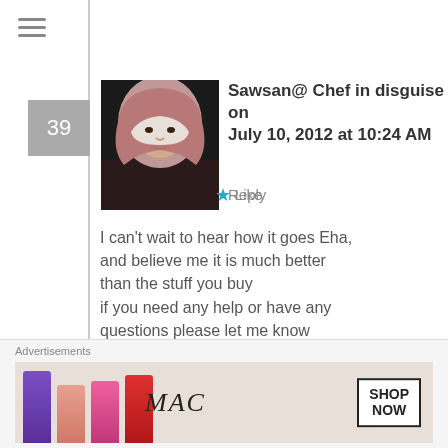[Figure (other): Hamburger menu icon (three horizontal lines)]
Sawsan@ Chef in disguise on July 10, 2012 at 10:24 AM
Reply  ★ Like
I can't wait to hear how it goes Eha, and believe me it is much better than the stuff you buy
if you need any help or have any questions please let me know
Geni - Sweet and Crumby on July 10, 2012 at 6:05 PM  Reply  ★ Like
WOW! So in awe! This feta looks
Advertisements
[Figure (photo): MAC cosmetics advertisement banner showing lipsticks and MAC logo with SHOP NOW button]